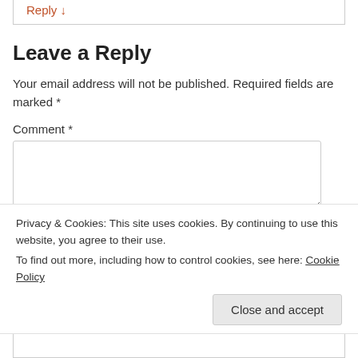Reply ↓
Leave a Reply
Your email address will not be published. Required fields are marked *
Comment *
Privacy & Cookies: This site uses cookies. By continuing to use this website, you agree to their use.
To find out more, including how to control cookies, see here: Cookie Policy
Close and accept